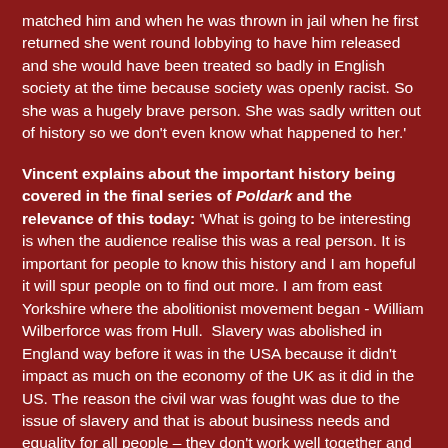matched him and when he was thrown in jail when he first returned she went round lobbying to have him released and she would have been treated so badly in English society at the time because society was openly racist. So she was a hugely brave person. She was sadly written out of history so we don't even know what happened to her.'
Vincent explains about the important history being covered in the final series of Poldark and the relevance of this today: 'What is going to be interesting is when the audience realise this was a real person. It is important for people to know this history and I am hopeful it will spur people on to find out more. I am from east Yorkshire where the abolitionist movement began - William Wilberforce was from Hull.  Slavery was abolished in England way before it was in the USA because it didn't impact as much on the economy of the UK as it did in the US. The reason the civil war was fought was due to the issue of slavery and that is about business needs and equality for all people – they don't work well together and that is something that is so interesting and makes Debbie so current with what she has done with her writing this series. Ned is in trouble because big